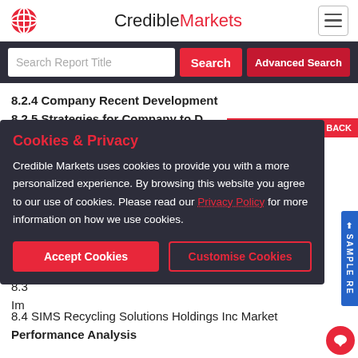CredibleMarkets
Search
Advanced Search
8.2.4 Company Recent Development
8.2.5 Strategies for Company to D...
Im...
8.3...
8.3...
8.3...
Pro...
8.3...
Ma...
8.3...
8.3...
Im...
8.4 SIMS Recycling Solutions Holdings Inc Market Performance Analysis
Cookies & Privacy
Credible Markets uses cookies to provide you with a more personalized experience. By browsing this website you agree to our use of cookies. Please read our Privacy Policy for more information on how we use cookies.
Accept Cookies
Customise Cookies